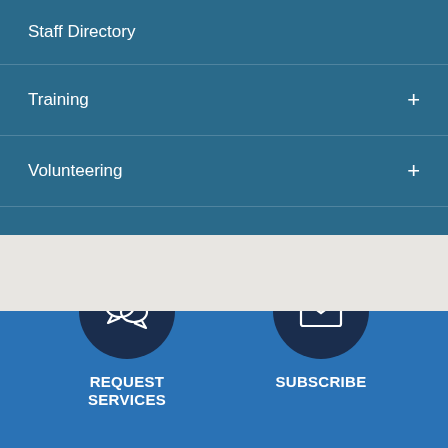Staff Directory
Training +
Volunteering +
[Figure (infographic): Government services portal navigation icons: two rows of dark navy circular icons on blue background. Top row: speech bubble icon labeled REQUEST SERVICES, envelope icon labeled SUBSCRIBE. Bottom row: trash/bin icon (partially visible), person/user icon (partially visible).]